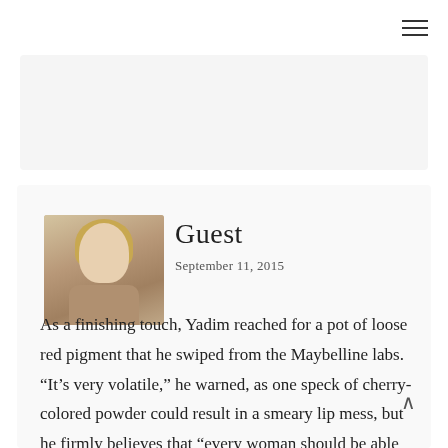[Figure (other): Hamburger menu icon (three horizontal lines) in top right corner]
[Figure (other): Red/pink REPLY button pill-shaped]
[Figure (photo): Avatar photo of a blonde woman with curly hair and red lipstick]
Guest
September 11, 2015
As a finishing touch, Yadim reached for a pot of loose red pigment that he swiped from the Maybelline labs. “It’s very volatile,” he warned, as one speck of cherry-colored powder could result in a smeary lip mess, but he firmly believes that “every woman should be able to overdraw her lip and not feel like she’s wearing tons of drag makeup